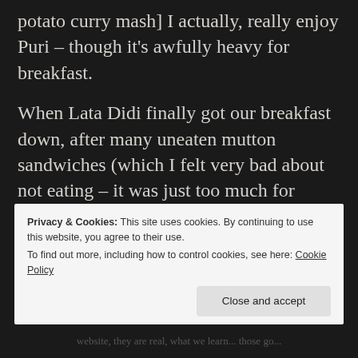potato curry mash] I actually, really enjoy Puri – though it's awfully heavy for breakfast.
When Lata Didi finally got our breakfast down, after many uneaten mutton sandwiches (which I felt very bad about not eating – it was just too much for steamy Calcutta mornings) we were met with a nice place of familiar foods. It became very, very comforting. Eggs. Toast. Banana and Cha
Privacy & Cookies: This site uses cookies. By continuing to use this website, you agree to their use.
To find out more, including how to control cookies, see here: Cookie Policy
Close and accept